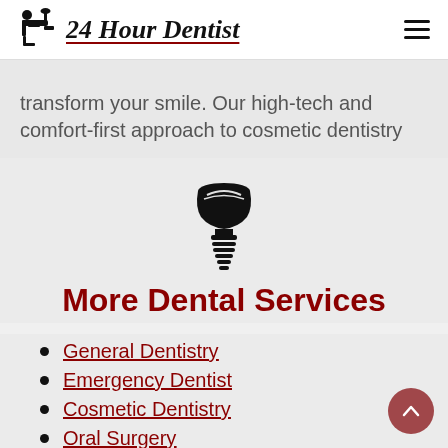24 Hour Dentist
transform your smile. Our high-tech and comfort-first approach to cosmetic dentistry
[Figure (illustration): Dental implant icon - a tooth implant screw symbol in black]
More Dental Services
General Dentistry
Emergency Dentist
Cosmetic Dentistry
Oral Surgery
Dental implants